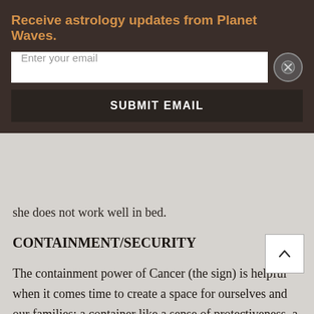Receive astrology updates from Planet Waves.
Enter your email
SUBMIT EMAIL
she does not work well in bed.
CONTAINMENT/SECURITY
The containment power of Cancer (the sign) is helpful when it comes time to create a space for ourselves and our families: a container like a sense of protectiveness, a house, a financial structure, a company, a sense that we belong together — and also some boundaries within the family community so everyone knows who is who.
For individuals within that structure, there needs to be some level of participation in creating that